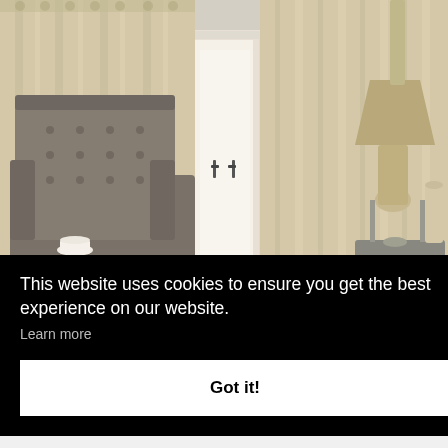[Figure (photo): Interior room scene showing cream/beige pleated curtains hanging by French doors, with a tufted grey armchair on the left holding a white cup, and a table lamp with gold shade on the right.]
This website uses cookies to ensure you get the best experience on our website.
Learn more
Got it!